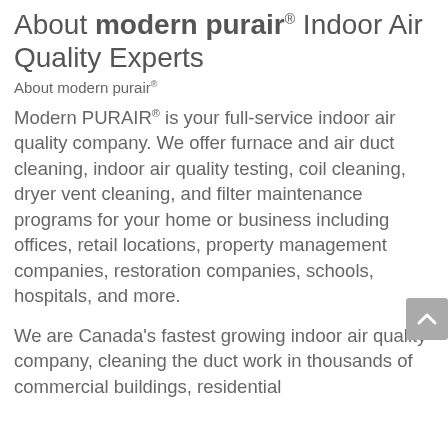About modern purair® Indoor Air Quality Experts
About modern purair®
Modern PURAIR® is your full-service indoor air quality company. We offer furnace and air duct cleaning, indoor air quality testing, coil cleaning, dryer vent cleaning, and filter maintenance programs for your home or business including offices, retail locations, property management companies, restoration companies, schools, hospitals, and more.
We are Canada’s fastest growing indoor air quality company, cleaning the duct work in thousands of commercial buildings, residential